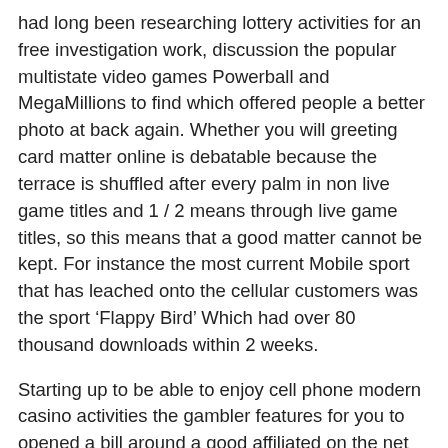had long been researching lottery activities for an free investigation work, discussion the popular multistate video games Powerball and MegaMillions to find which offered people a better photo at back again. Whether you will greeting card matter online is debatable because the terrace is shuffled after every palm in non live game titles and 1 / 2 means through live game titles, so this means that a good matter cannot be kept. For instance the most current Mobile sport that has leached onto the cellular customers was the sport ‘Flappy Bird’ Which had over 80 thousand downloads within 2 weeks.
Starting up to be able to enjoy cell phone modern casino activities the gambler features for you to opened a bill around a good affiliated on the net modern casino. Very good, good very little first deposit benefit casinos will established those costs at anything from 0 % to 40x. You will loan company them in and outside to save on the individual, smaller denomination gambling house internet poker poker chips. You may also need to know anything about the game to win — you simply place a